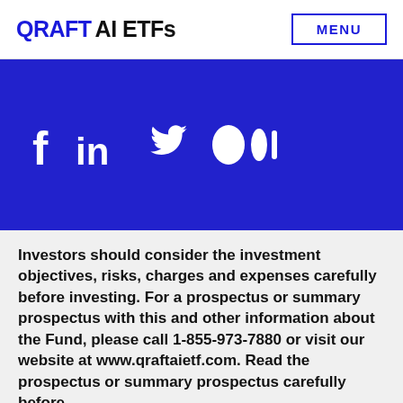QRAFT AI ETFs  MENU
[Figure (other): Blue social media banner with icons for Facebook, LinkedIn, Twitter, and Medium]
Investors should consider the investment objectives, risks, charges and expenses carefully before investing. For a prospectus or summary prospectus with this and other information about the Fund, please call 1-855-973-7880 or visit our website at www.qraftaietf.com. Read the prospectus or summary prospectus carefully before